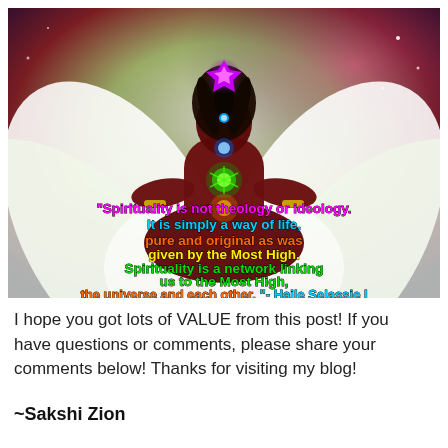[Figure (illustration): Digital illustration of a meditating figure with dreadlocks, glowing chakra symbols (purple crown, blue throat, green heart), sitting in lotus pose on a large white lotus flower, with a cosmic/spiritual background. Overlaid quote text in multiple colors.]
I hope you got lots of VALUE from this post! If you have questions or comments, please share your comments below! Thanks for visiting my blog!
~Sakshi Zion